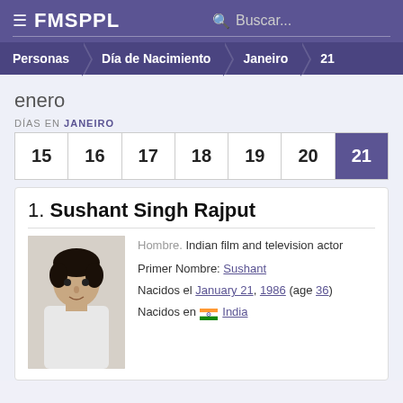≡ FMSPPL  Buscar...
Personas > Día de Nacimiento > Janeiro > 21
enero
DÍAS EN JANEIRO
| 15 | 16 | 17 | 18 | 19 | 20 | 21 |
| --- | --- | --- | --- | --- | --- | --- |
1. Sushant Singh Rajput
Hombre. Indian film and television actor
Primer Nombre: Sushant
Nacidos el January 21, 1986 (age 36)
Nacidos en 🇮🇳 India